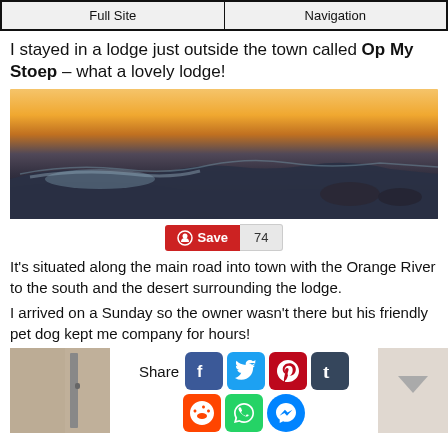Full Site | Navigation
I stayed in a lodge just outside the town called Op My Stoep – what a lovely lodge!
[Figure (photo): Panoramic landscape photo showing a river winding through desert terrain at sunset/dusk with orange sky]
Save 74
It's situated along the main road into town with the Orange River to the south and the desert surrounding the lodge.
I arrived on a Sunday so the owner wasn't there but his friendly pet dog kept me company for hours!
[Figure (photo): Small thumbnail photo of a door]
Share
[Figure (infographic): Social share icons: Facebook, Twitter, Pinterest, Tumblr, Reddit, WhatsApp, Messenger]
[Figure (photo): Small thumbnail photo with a downward arrow]